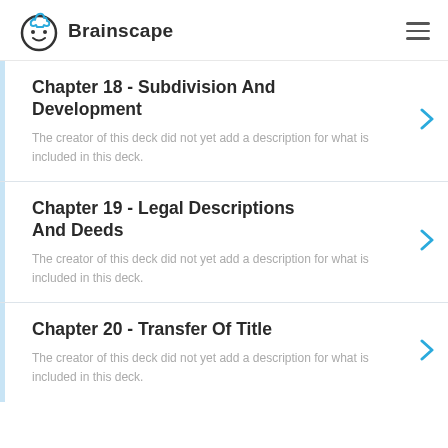Brainscape
Chapter 18 - Subdivision And Development
The creator of this deck did not yet add a description for what is included in this deck.
Chapter 19 - Legal Descriptions And Deeds
The creator of this deck did not yet add a description for what is included in this deck.
Chapter 20 - Transfer Of Title
The creator of this deck did not yet add a description for what is included in this deck.